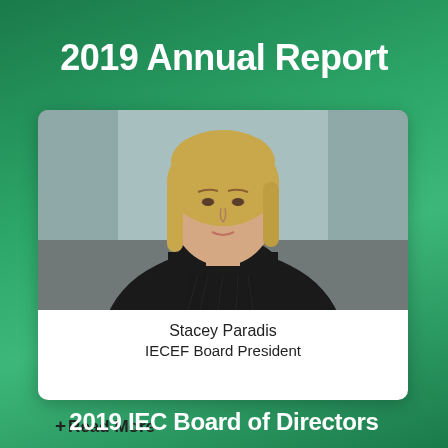2019 Annual Report
[Figure (photo): Portrait photo of Stacey Paradis, a woman with blonde hair wearing a black turtleneck sweater, photographed from the waist up against a blurred background]
Stacey Paradis
IECEF Board President
+ Read More
2019 IEC Board of Directors